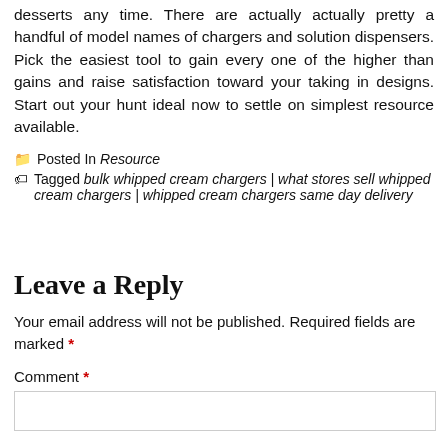desserts any time. There are actually actually pretty a handful of model names of chargers and solution dispensers. Pick the easiest tool to gain every one of the higher than gains and raise satisfaction toward your taking in designs. Start out your hunt ideal now to settle on simplest resource available.
Posted In Resource
Tagged bulk whipped cream chargers | what stores sell whipped cream chargers | whipped cream chargers same day delivery
Leave a Reply
Your email address will not be published. Required fields are marked *
Comment *